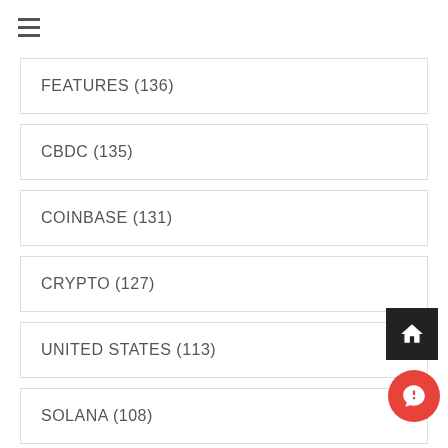FEATURES (136)
CBDC (135)
COINBASE (131)
CRYPTO (127)
UNITED STATES (113)
SOLANA (108)
DOGECOIN (107)
ADOPTION (103)